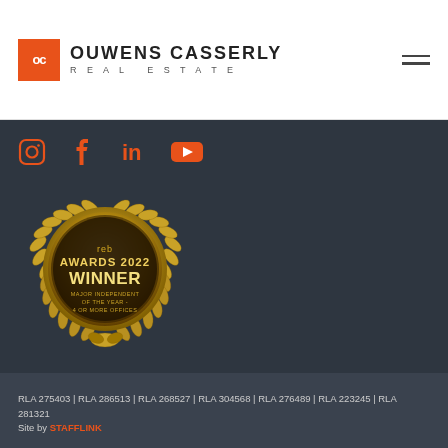[Figure (logo): Ouwens Casserly Real Estate logo with orange OC box on the left and company name text on the right]
[Figure (other): Hamburger menu icon (three horizontal lines) in top right]
[Figure (other): Social media icons row: Instagram, Facebook, LinkedIn, YouTube in orange on dark background]
[Figure (other): REB Awards 2022 Winner badge - gold medal with laurel wreath, text: reb AWARDS 2022 WINNER MAJOR INDEPENDENT OF THE YEAR - 4 OR MORE OFFICES]
RLA 275403 | RLA 286513 | RLA 268527 | RLA 304568 | RLA 276489 | RLA 223245 | RLA 281321
Site by STAFFLINK